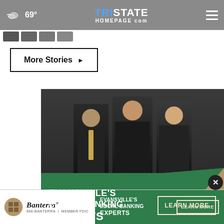69° TristateHomepage.com
[Figure (screenshot): Small thumbnail images strip below header]
More Stories ▶
[Figure (photo): Evansville's Local Banking Experts advertisement featuring three professionals (two women and one man in business attire) with green banner text and LEARN MORE button]
[Figure (photo): Banterra bank bottom banner ad: Banterra logo, 866-BANTERRA, MEMBER FDIC, Evansville's Local Banking Experts, LEARN MORE button]